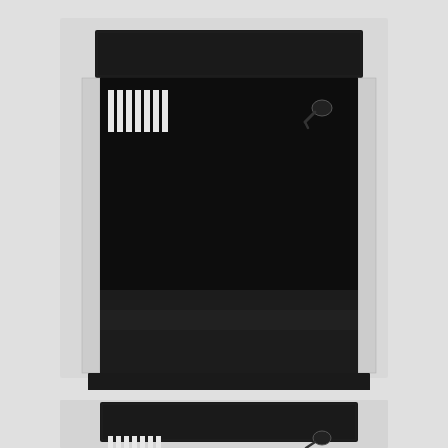[Figure (photo): Two photographs of a black acrylic display case or ballot box with a transparent front panel. The top image shows the full unit: a rectangular black plastic enclosure with a dark interior, a vented left side panel with white vertical slits, a locking tumbler mechanism in the upper right corner, and a flat black base tray. The bottom image shows a partial/cropped view of the same or identical unit from a slightly different angle, showing the top black lid and the upper portion of the transparent front with the same vent slits and lock visible.]